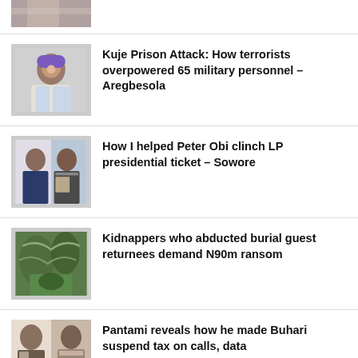[Figure (photo): Partial photo of a person at top of page, cropped]
Kuje Prison Attack: How terrorists overpowered 65 military personnel – Aregbesola
[Figure (photo): Photo of a smiling man in purple cap at microphone]
How I helped Peter Obi clinch LP presidential ticket – Sowore
[Figure (photo): Photo of two men, one in suit]
Kidnappers who abducted burial guest returnees demand N90m ransom
[Figure (photo): Photo of snakes or reptiles in trees]
Pantami reveals how he made Buhari suspend tax on calls, data
[Figure (photo): Photo of two men in traditional/official attire]